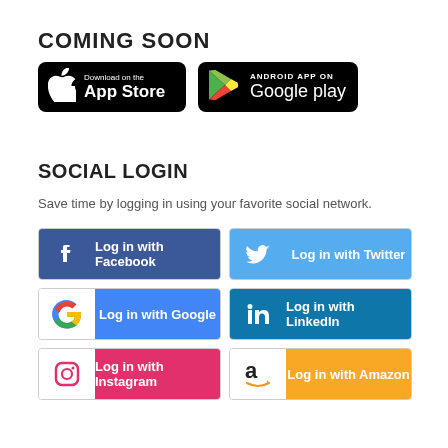COMING SOON
[Figure (illustration): App Store and Google Play download badges]
SOCIAL LOGIN
Save time by logging in using your favorite social network.
[Figure (illustration): Social login buttons: Facebook, Twitter, Google, LinkedIn, Instagram, Amazon]